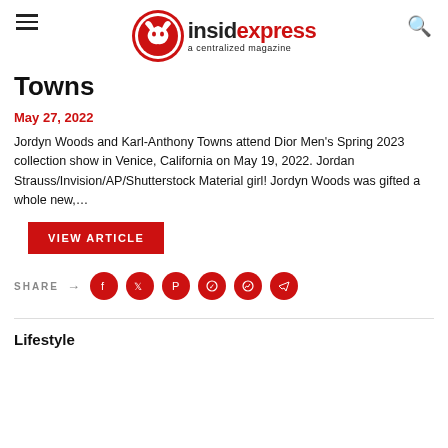insidexpress a centralized magazine
Towns
May 27, 2022
Jordyn Woods and Karl-Anthony Towns attend Dior Men's Spring 2023 collection show in Venice, California on May 19, 2022. Jordan Strauss/Invision/AP/Shutterstock Material girl! Jordyn Woods was gifted a whole new,...
VIEW ARTICLE
SHARE
Lifestyle